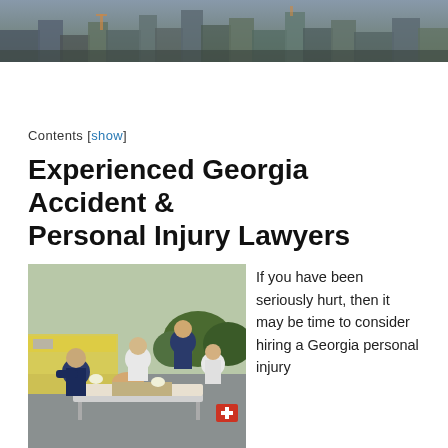[Figure (photo): Header hero banner image showing an aerial/panoramic city/industrial scene]
Contents [show]
Experienced Georgia Accident & Personal Injury Lawyers
[Figure (photo): EMT paramedics and emergency responders treating an injured person on a stretcher in a parking lot]
If you have been seriously hurt, then it may be time to consider hiring a Georgia personal injury
lawyer. Hiring one of these attorneys when dealing with medical issues is important because they take away the stress of dealing with all that
Translate »